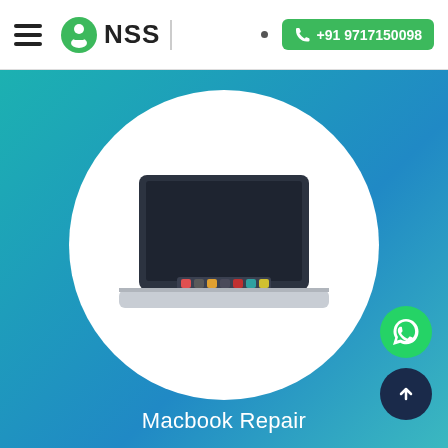NSS | +91 9717150098
[Figure (illustration): NSS logo: green technician icon with a person and wrench symbol, next to bold text NSS]
[Figure (illustration): Macbook laptop illustration inside a white circle on a teal/blue gradient background, showing a dark screen with colorful app icons in the dock]
Macbook Repair